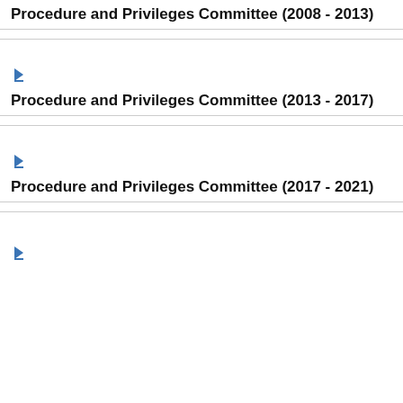Procedure and Privileges Committee (2008 - 2013)
Procedure and Privileges Committee (2013 - 2017)
Procedure and Privileges Committee (2017 - 2021)